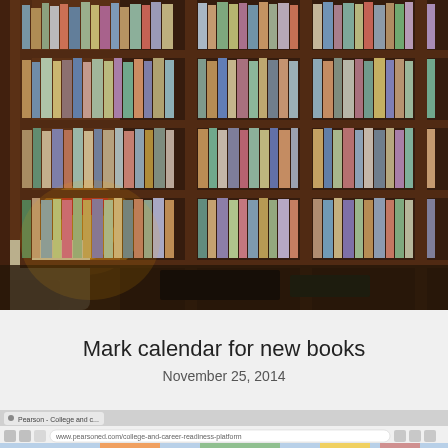[Figure (photo): Interior photo of a library or bookstore with tall wooden bookshelves filled with books, a lamp glowing on the left side, and a reading chair partially visible in the lower left.]
Mark calendar for new books
November 25, 2014
[Figure (screenshot): Partial screenshot of a website showing a browser toolbar and the top portion of a webpage, URL appears to reference a college reading platform.]